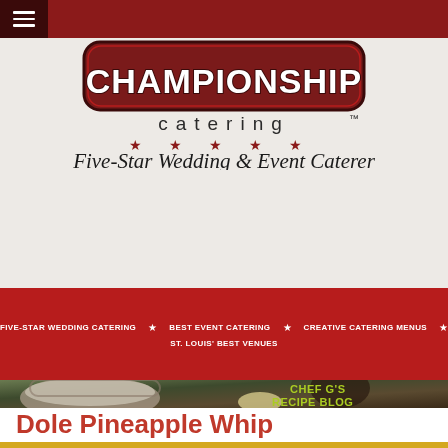Championship Catering - Five-Star Wedding & Event Caterer
[Figure (logo): Championship Catering logo with 'CHAMPIONSHIP' in block varsity letters, 'catering™' below in spaced letters, five red stars, and italic script text 'Five-Star Wedding & Event Caterer']
FIVE-STAR WEDDING CATERING ★ BEST EVENT CATERING ★ CREATIVE CATERING MENUS ★ ST. LOUIS' BEST VENUES
[Figure (photo): Food preparation photo showing flour in a sieve/strainer over a blue bowl, with spices and a lemon visible on a wooden surface. Text overlay reads 'CHEF G'S RECIPE BLOG' in yellow-green bold text.]
Dole Pineapple Whip